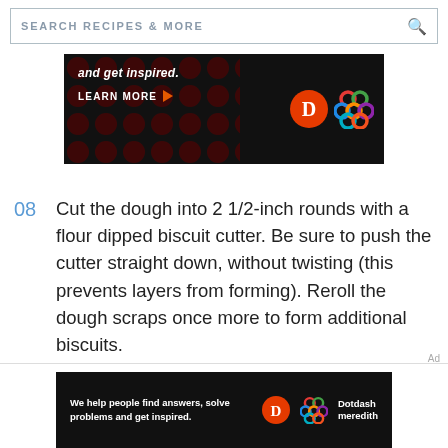SEARCH RECIPES & MORE
[Figure (screenshot): Dark advertisement banner with 'and get inspired. LEARN MORE' text, Dotdash D logo in red circle, and colorful knot logo]
08 Cut the dough into 2 1/2-inch rounds with a flour dipped biscuit cutter. Be sure to push the cutter straight down, without twisting (this prevents layers from forming). Reroll the dough scraps once more to form additional biscuits.
[Figure (screenshot): Bottom advertisement banner: 'We help people find answers, solve problems and get inspired.' with Dotdash meredith logos]